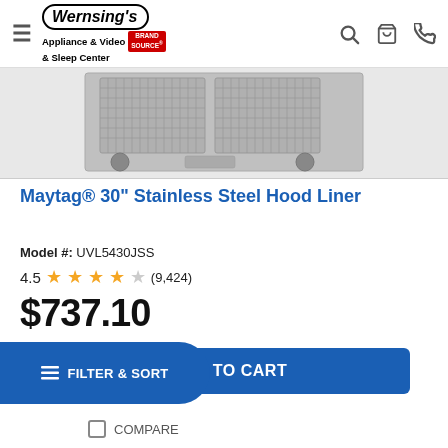Wernsing's Appliance & Video & Sleep Center Brand Source
[Figure (photo): Maytag 30-inch stainless steel hood liner appliance product photo, showing underside with filters and controls]
Maytag® 30" Stainless Steel Hood Liner
Model #: UVL5430JSS
4.5 stars (9,424) reviews
$737.10
$819.00  Save $81.90
ADD TO CART
FILTER & SORT
COMPARE